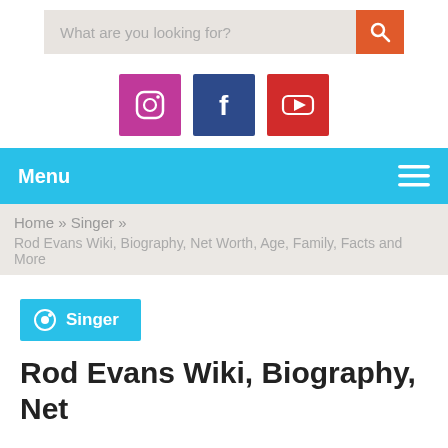[Figure (screenshot): Search bar with placeholder text 'What are you looking for?' and orange search button]
[Figure (infographic): Three social media icons: Instagram (pink/purple), Facebook (dark blue), YouTube (red)]
Menu ☰
Home » Singer »
Rod Evans Wiki, Biography, Net Worth, Age, Family, Facts and More
Singer
Rod Evans Wiki, Biography, Net